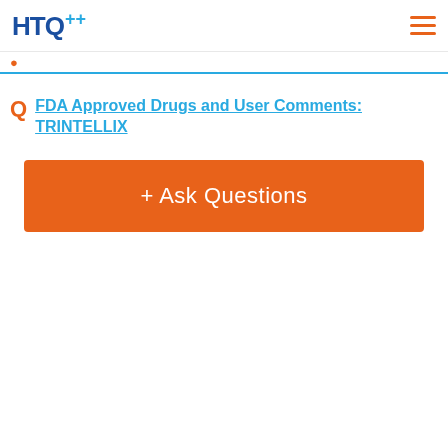HTQ
FDA Approved Drugs and User Comments: TRINTELLIX
+ Ask Questions